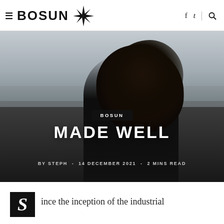≡ BOSUN [compass logo] f  t  | [search]
[Figure (photo): Hero image of a woman with curly hair from behind, wearing a dark Bosun hoodie, standing on a dark beach with ocean and sky in background. Overlay text: BOSUN category tag, MADE WELL headline, BY STEPH - 14 DECEMBER 2021 - 2 MINS READ]
MADE WELL
BY STEPH - 14 DECEMBER 2021 - 2 MINS READ
ince the inception of the industrial